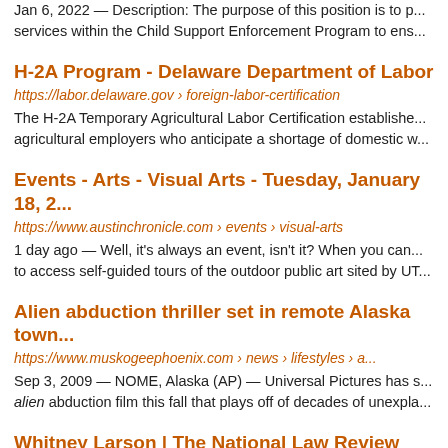Jan 6, 2022 — Description: The purpose of this position is to p... services within the Child Support Enforcement Program to ens...
H-2A Program - Delaware Department of Labor
https://labor.delaware.gov › foreign-labor-certification
The H-2A Temporary Agricultural Labor Certification establishes a... agricultural employers who anticipate a shortage of domestic w...
Events - Arts - Visual Arts - Tuesday, January 18, 2...
https://www.austinchronicle.com › events › visual-arts
1 day ago — Well, it's always an event, isn't it? When you can... to access self-guided tours of the outdoor public art sited by UT...
Alien abduction thriller set in remote Alaska town...
https://www.muskogeephoenix.com › news › lifestyles › a...
Sep 3, 2009 — NOME, Alaska (AP) — Universal Pictures has s... alien abduction film this fall that plays off of decades of unexpla...
Whitney Larson | The National Law Review
https://www.natlawreview.com › author › whitney-larson
Her practice includes all aspects of U.S. corporate immigration... immigrant visas, labor certification, and permanent residency...